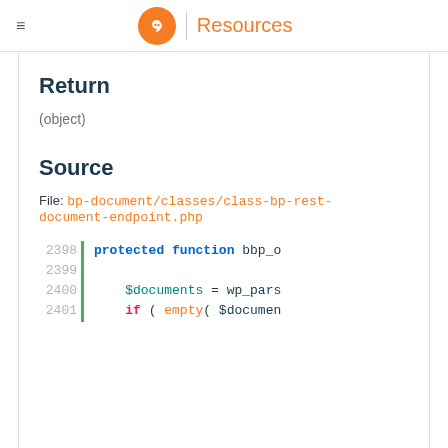≡  [logo] | Resources
Return
(object)
Source
File: bp-document/classes/class-bp-rest-document-endpoint.php
[Figure (screenshot): Code snippet showing lines 2398-2401 of a PHP file with syntax highlighting. Line 2398: protected function bbp_o (truncated), Line 2399: (empty), Line 2400: $documents = wp_pars (truncated), Line 2401: if ( empty( $documen (truncated)]